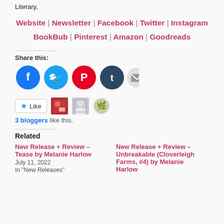Literary.
Website | Newsletter | Facebook | Twitter | Instagram
BookBub | Pinterest | Amazon | Goodreads
Share this:
[Figure (infographic): Row of five circular social share buttons: Facebook (blue), Twitter (cyan/blue), Pinterest (red), Tumblr (dark navy), Email (light gray)]
[Figure (infographic): Like button with blue star and 'Like' text, followed by three small circular avatar images of bloggers]
3 bloggers like this.
Related
New Release + Review – Tease by Melanie Harlow
July 11, 2022
In "New Releases"
New Release + Review – Unbreakable (Cloverleigh Farms, #4) by Melanie Harlow